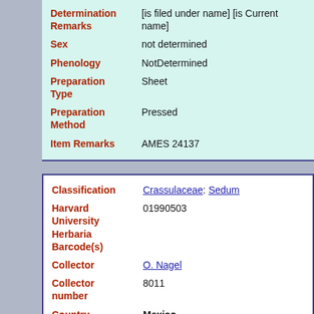| Field | Value |
| --- | --- |
| Determination Remarks | [is filed under name] [is Current name] |
| Sex | not determined |
| Phenology | NotDetermined |
| Preparation Type | Sheet |
| Preparation Method | Pressed |
| Item Remarks | AMES 24137 |
| Field | Value |
| --- | --- |
| Classification | Crassulaceae: Sedum |
| Harvard University Herbaria Barcode(s) | 01990503 |
| Collector | O. Nagel |
| Collector number | 8011 |
| Country | Mexico |
| State | Morelos |